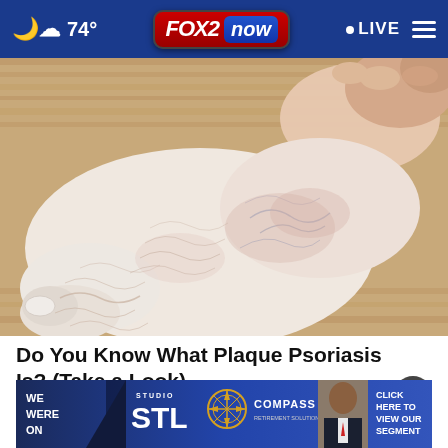74° FOX 2 now LIVE
[Figure (photo): Close-up photo of a person's foot and ankle being held, showing dry, scaly skin with visible veins, resting on a wooden floor — illustrating plaque psoriasis symptoms.]
Do You Know What Plaque Psoriasis Is? (Take a Look)
Smart
[Figure (infographic): Bottom advertisement banner for Studio STL segment on Compass, with text: WE WERE ON, STUDIO STL, COMPASS, CLICK HERE TO VIEW OUR SEGMENT. Features a compass rose graphic and a photo of a man in a suit.]